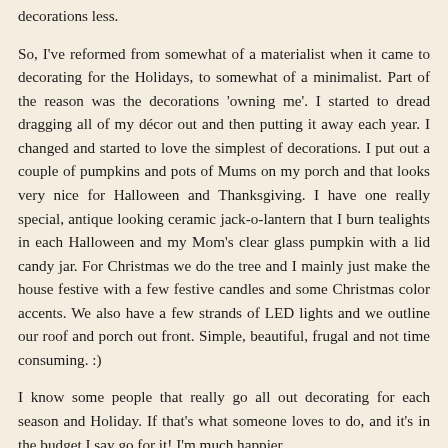decorations less.
So, I've reformed from somewhat of a materialist when it came to decorating for the Holidays, to somewhat of a minimalist. Part of the reason was the decorations 'owning me'. I started to dread dragging all of my décor out and then putting it away each year. I changed and started to love the simplest of decorations. I put out a couple of pumpkins and pots of Mums on my porch and that looks very nice for Halloween and Thanksgiving. I have one really special, antique looking ceramic jack-o-lantern that I burn tealights in each Halloween and my Mom's clear glass pumpkin with a lid candy jar. For Christmas we do the tree and I mainly just make the house festive with a few festive candles and some Christmas color accents. We also have a few strands of LED lights and we outline our roof and porch out front. Simple, beautiful, frugal and not time consuming. :)
I know some people that really go all out decorating for each season and Holiday. If that's what someone loves to do, and it's in the budget I say go for it! I'm much happier